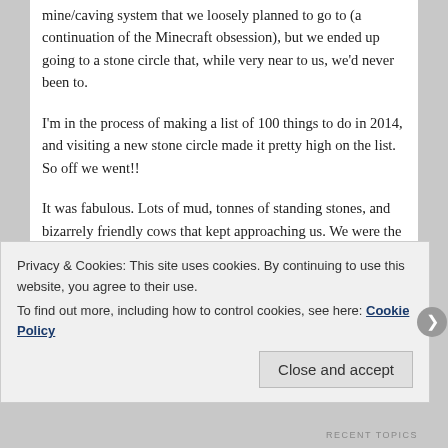mine/caving system that we loosely planned to go to (a continuation of the Minecraft obsession), but we ended up going to a stone circle that, while very near to us, we'd never been to.
I'm in the process of making a list of 100 things to do in 2014, and visiting a new stone circle made it pretty high on the list. So off we went!!
It was fabulous. Lots of mud, tonnes of standing stones, and bizarrely friendly cows that kept approaching us. We were the only people there, and all you could see was rolling hills, a church tower, the occasional house secreted away in the hills. It was amazing. Afterwards we ate lunch in the heat of the car (it's big, folks) and the kids …
Privacy & Cookies: This site uses cookies. By continuing to use this website, you agree to their use.
To find out more, including how to control cookies, see here: Cookie Policy
Close and accept
RECENT TOPICS